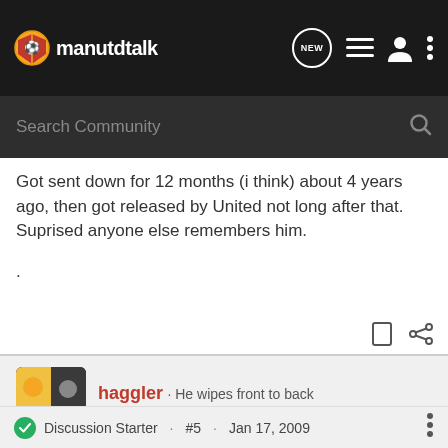manutdtalk
Got sent down for 12 months (i think) about 4 years ago, then got released by United not long after that.
Suprised anyone else remembers him.
.
haggler · He wipes front to back
Joined Jan 17, 2008 · 27,654 Posts
Discussion Starter · #5 · Jan 17, 2009